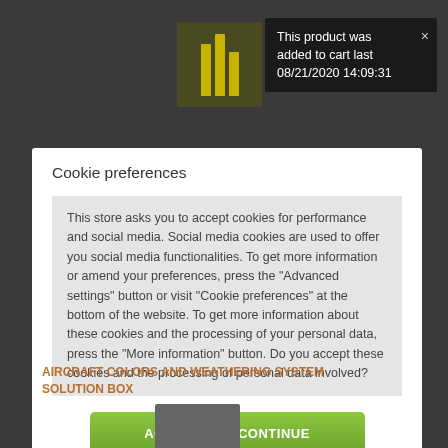This product was added to cart last 08/21/2020 14:09:31
Cookie preferences
This store asks you to accept cookies for performance and social media. Social media cookies are used to offer you social media functionalities. To get more information or amend your preferences, press the "Advanced settings" button or visit "Cookie preferences" at the bottom of the website. To get more information about these cookies and the processing of your personal data, press the "More information" button. Do you accept these cookies and the processing of personal data involved?
ACCEPT AND CONTINUE
More information
ADVANCED SETTINGS